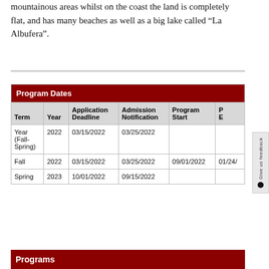mountainous areas whilst on the coast the land is completely flat, and has many beaches as well as a big lake called “La Albufera”.
| Term | Year | Application Deadline | Admission Notification | Program Start | PE |
| --- | --- | --- | --- | --- | --- |
| Year (Fall-Spring) | 2022 | 03/15/2022 | 03/25/2022 |  |  |
| Fall | 2022 | 03/15/2022 | 03/25/2022 | 09/01/2022 | 01/24/ |
| Spring | 2023 | 10/01/2022 | 09/15/2022 |  |  |
Programs